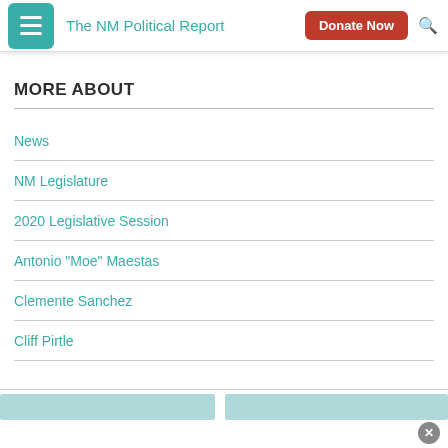The NM Political Report
MORE ABOUT
News
NM Legislature
2020 Legislative Session
Antonio "Moe" Maestas
Clemente Sanchez
Cliff Pirtle